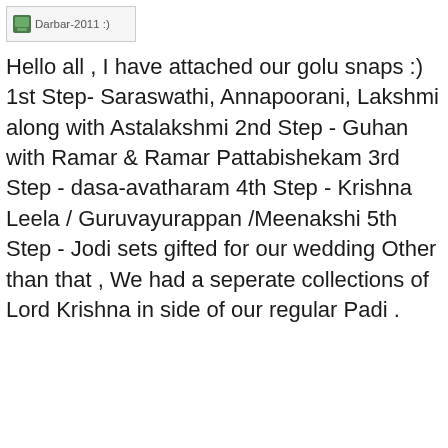[Figure (other): Small avatar/thumbnail image with label 'Darbar-2011 :)']
Hello all , I have attached our golu snaps :) 1st Step- Saraswathi, Annapoorani, Lakshmi along with Astalakshmi 2nd Step - Guhan with Ramar & Ramar Pattabishekam 3rd Step - dasa-avatharam 4th Step - Krishna Leela / Guruvayurappan /Meenakshi 5th Step - Jodi sets gifted for our wedding Other than that , We had a seperate collections of Lord Krishna in side of our regular Padi .